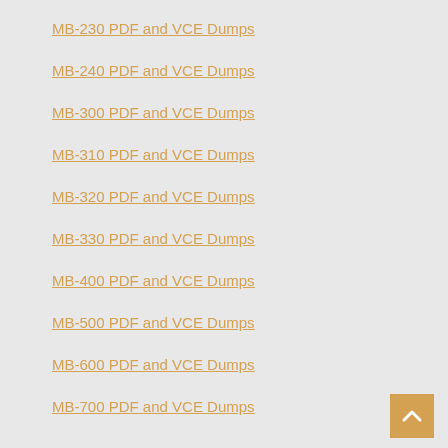MB-230 PDF and VCE Dumps
MB-240 PDF and VCE Dumps
MB-300 PDF and VCE Dumps
MB-310 PDF and VCE Dumps
MB-320 PDF and VCE Dumps
MB-330 PDF and VCE Dumps
MB-400 PDF and VCE Dumps
MB-500 PDF and VCE Dumps
MB-600 PDF and VCE Dumps
MB-700 PDF and VCE Dumps